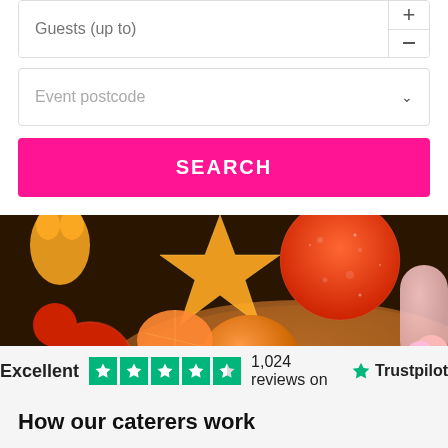[Figure (screenshot): Guests (up to) input field with plus and minus buttons]
[Figure (screenshot): Event postcode input field with chevron dropdown]
[Figure (screenshot): SEARCH button in pink/magenta color]
[Figure (photo): Colorful candy and gummy sweets in a wooden bowl, close-up photo]
Excellent  1,024 reviews on  Trustpilot
How our caterers work